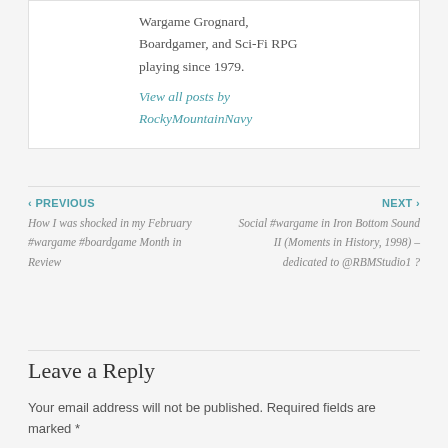Wargame Grognard, Boardgamer, and Sci-Fi RPG playing since 1979.
View all posts by RockyMountainNavy
‹ PREVIOUS
How I was shocked in my February #wargame #boardgame Month in Review
NEXT ›
Social #wargame in Iron Bottom Sound II (Moments in History, 1998) – dedicated to @RBMStudio1 ?
Leave a Reply
Your email address will not be published. Required fields are marked *